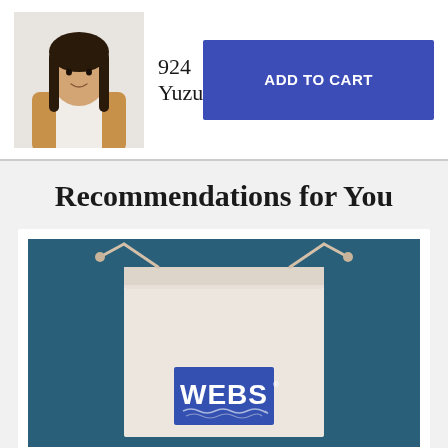924 Yuzu
ADD TO CART
Recommendations for You
[Figure (photo): A white drawstring bag with the WEBS logo (blue rectangle with white WEBS text and wave design) on a dark teal/blue background]